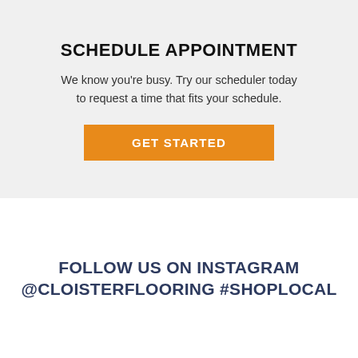SCHEDULE APPOINTMENT
We know you're busy. Try our scheduler today to request a time that fits your schedule.
GET STARTED
FOLLOW US ON INSTAGRAM @CLOISTERFLOORING #SHOPLOCAL